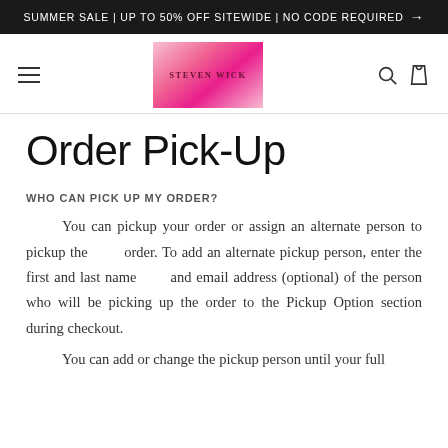SUMMER SALE | UP TO 50% OFF SITEWIDE | NO CODE REQUIRED →
[Figure (logo): Steven Wick brand logo — pink gradient rectangle with 'STEVEN WICK' text, hamburger menu icon on left, search and bag icons on right]
Order Pick-Up
WHO CAN PICK UP MY ORDER?
You can pickup your order or assign an alternate person to pickup the order. To add an alternate pickup person, enter the first and last name and email address (optional) of the person who will be picking up the order to the Pickup Option section during checkout.
You can add or change the pickup person until your full